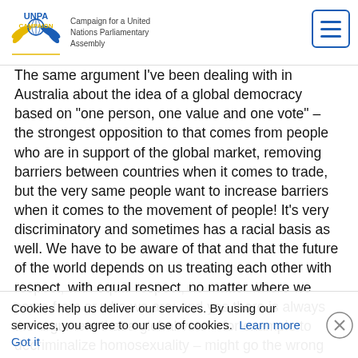UNPA CAMPAIGN — Campaign for a United Nations Parliamentary Assembly
The same argument I've been dealing with in Australia about the idea of a global democracy based on "one person, one value and one vote" – the strongest opposition to that comes from people who are in support of the global market, removing barriers between countries when it comes to trade, but the very same people want to increase barriers when it comes to the movement of people! It's very discriminatory and sometimes has a racial basis as well. We have to be aware of that and that the future of the world depends on us treating each other with respect, with equal respect, no matter where we come from or who we are; and yes there is always the argument that a global vote – for example to decriminalize homosexuality – might go the wrong way but you either believe in democracy or you don't.
I think there is a very strong argument that if people were given a democratic way of expressing their opinion on any one wish, they could always find that the support of the majority...
Cookies help us deliver our services. By using our services, you agree to our use of cookies.  Learn more     Got it